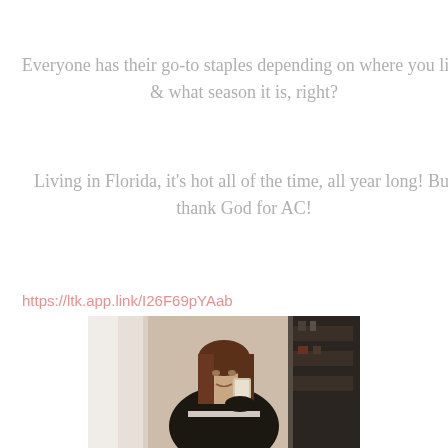Everyone has their go-to staples depending on where you live & what season it is, right?
Living in Florida, it's hot all of the time, all year long! But thank God for AC!
https://ltk.app.link/I26F69pYAab
[Figure (photo): Woman taking a mirror selfie with a phone, wearing a dark hoodie with long brown hair, standing in a room with shelves in the background]